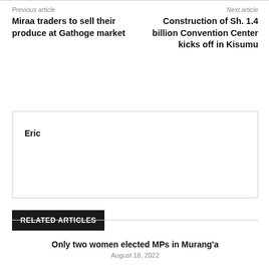Previous article
Miraa traders to sell their produce at Gathoge market
Next article
Construction of Sh. 1.4 billion Convention Center kicks off in Kisumu
Eric
RELATED ARTICLES
Only two women elected MPs in Murang'a
August 18, 2022